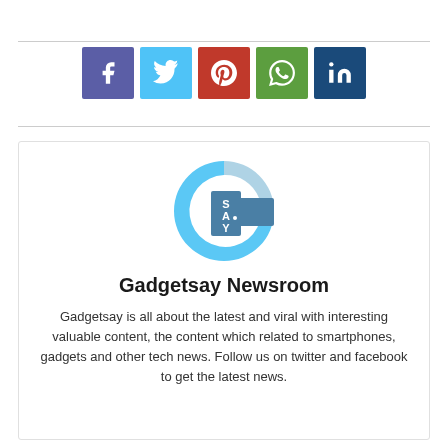[Figure (logo): Row of five social media share buttons: Facebook (purple), Twitter (light blue), Pinterest (red), WhatsApp (green), LinkedIn (dark blue)]
[Figure (logo): Gadgetsay logo: a stylized letter G in blue with SAY text inside]
Gadgetsay Newsroom
Gadgetsay is all about the latest and viral with interesting valuable content, the content which related to smartphones, gadgets and other tech news. Follow us on twitter and facebook to get the latest news.